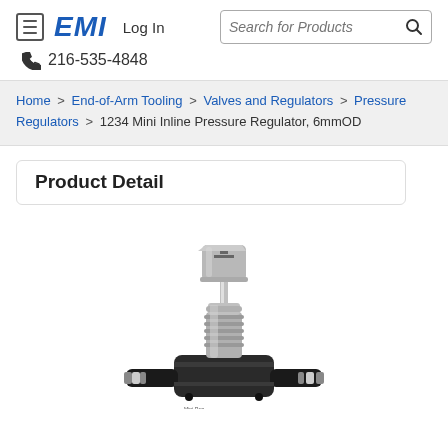EMI  Log In  216-535-4848  Search for Products
Home > End-of-Arm Tooling > Valves and Regulators > Pressure Regulators > 1234 Mini Inline Pressure Regulator, 6mmOD
Product Detail
[Figure (photo): Mini inline pressure regulator with 6mm OD push-to-connect fittings. The regulator features a black body with silver/nickel-plated adjustment knob on top, a central threaded body section, and two push-to-connect ports at the bottom.]